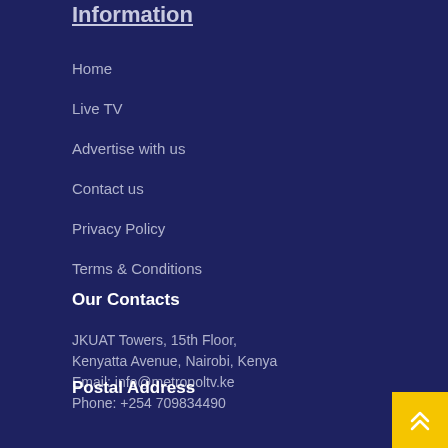Information
Home
Live TV
Advertise with us
Contact us
Privacy Policy
Terms & Conditions
Our Contacts
JKUAT Towers, 15th Floor,
Kenyatta Avenue, Nairobi, Kenya
Email: info@metropoltv.ke
Phone: +254 709834490
Postal Address
P. O. Box 35331-00200
Nairobi, Kenya
Newsletter